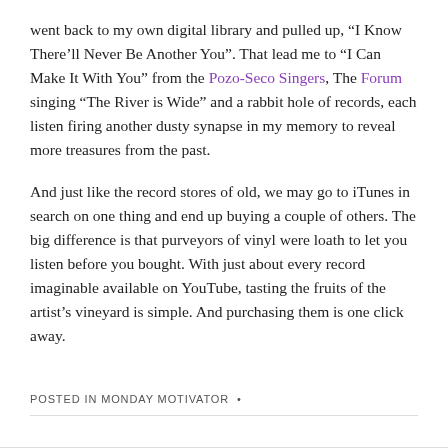went back to my own digital library and pulled up, “I Know There’ll Never Be Another You”. That lead me to “I Can Make It With You” from the Pozo-Seco Singers, The Forum singing “The River is Wide” and a rabbit hole of records, each listen firing another dusty synapse in my memory to reveal more treasures from the past.
And just like the record stores of old, we may go to iTunes in search on one thing and end up buying a couple of others. The big difference is that purveyors of vinyl were loath to let you listen before you bought. With just about every record imaginable available on YouTube, tasting the fruits of the artist’s vineyard is simple. And purchasing them is one click away.
POSTED IN MONDAY MOTIVATOR •